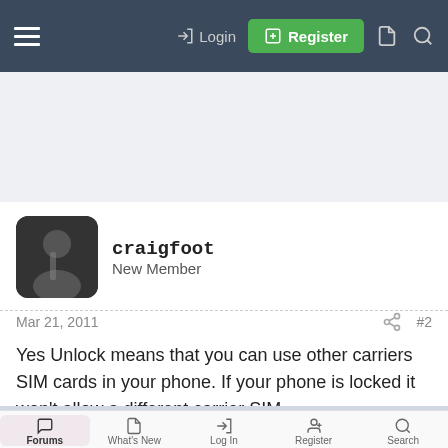Login  Register
[Figure (other): Advertisement / banner area (light gray placeholder)]
craigfoot
New Member
Mar 21, 2011  #2
Yes Unlock means that you can use other carriers SIM cards in your phone. If your phone is locked it won't allow a different carrier SIM.
Forums  What's New  Log In  Register  Search